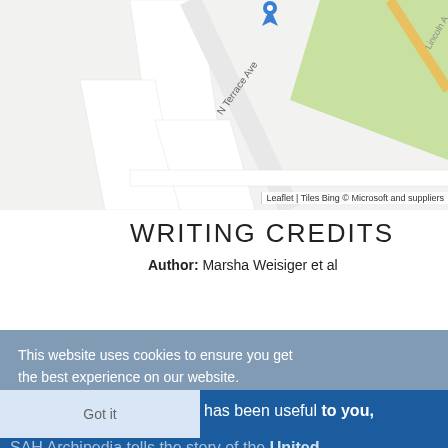[Figure (map): Partial street map showing N Terrace Ave and surrounding roads with a blue map pin marker, rendered via Leaflet with Bing tiles.]
Leaflet | Tiles Bing © Microsoft and suppliers
WRITING CREDITS
Author: Marsha Weisiger et al
This website uses cookies to ensure you get the best experience on our website.
If SAH Archipedia has been useful to you, please consider supporting it.
Got it
SAH Archipedia tells the story of the United